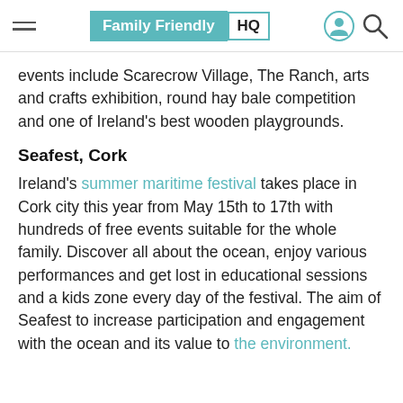Family Friendly HQ
events include Scarecrow Village, The Ranch, arts and crafts exhibition, round hay bale competition and one of Ireland's best wooden playgrounds.
Seafest, Cork
Ireland's summer maritime festival takes place in Cork city this year from May 15th to 17th with hundreds of free events suitable for the whole family. Discover all about the ocean, enjoy various performances and get lost in educational sessions and a kids zone every day of the festival. The aim of Seafest to increase participation and engagement with the ocean and its value to the environment.